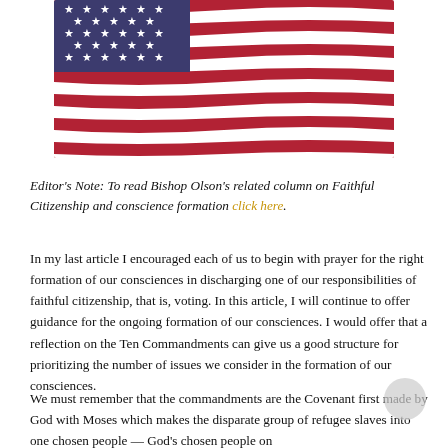[Figure (photo): Close-up photograph of an American flag with waving red, white, and blue stripes and white stars on a dark blue field.]
Editor's Note: To read Bishop Olson's related column on Faithful Citizenship and conscience formation click here.
In my last article I encouraged each of us to begin with prayer for the right formation of our consciences in discharging one of our responsibilities of faithful citizenship, that is, voting. In this article, I will continue to offer guidance for the ongoing formation of our consciences. I would offer that a reflection on the Ten Commandments can give us a good structure for prioritizing the number of issues we consider in the formation of our consciences.
We must remember that the commandments are the Covenant first made by God with Moses which makes the disparate group of refugee slaves into one chosen people — God's chosen people on